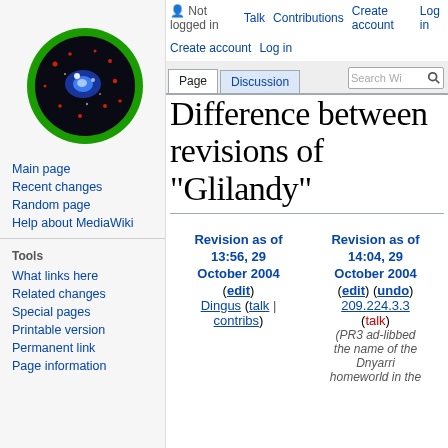[Figure (logo): Wikipedia globe logo with green outer ring and galaxy/stars inside on dark background]
Main page
Recent changes
Random page
Help about MediaWiki
Tools
What links here
Related changes
Special pages
Printable version
Permanent link
Page information
Not logged in  Talk  Contributions  Create account  Log in
Difference between revisions of "Glilandy"
| Revision as of 13:56, 29 October 2004 | Revision as of 14:04, 29 October 2004 |
| --- | --- |
| (edit) | (edit) (undo) |
| Dingus (talk | contribs) | 209.224.3.3 (talk) |
|  | (PR3 ad-libbed the name of the Dnyarri homeworld in the |